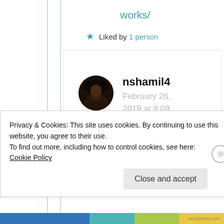works/
★ Liked by 1 person
[Figure (photo): Circular avatar portrait of a person with dark curly hair]
nshamil4
February 26, 2019 at 8:09 pm
Privacy & Cookies: This site uses cookies. By continuing to use this website, you agree to their use.
To find out more, including how to control cookies, see here:
Cookie Policy
Close and accept